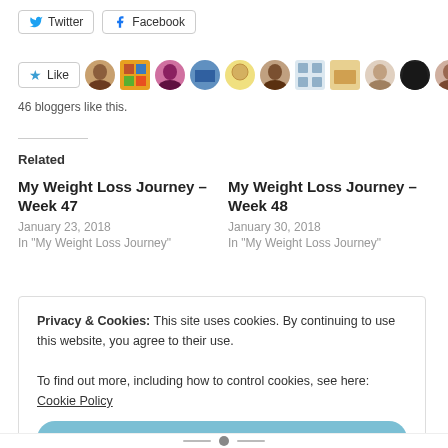[Figure (screenshot): Twitter and Facebook share buttons]
[Figure (screenshot): Like button with 46 blogger avatars]
46 bloggers like this.
Related
My Weight Loss Journey – Week 47
January 23, 2018
In "My Weight Loss Journey"
My Weight Loss Journey – Week 48
January 30, 2018
In "My Weight Loss Journey"
Privacy & Cookies: This site uses cookies. By continuing to use this website, you agree to their use.
To find out more, including how to control cookies, see here: Cookie Policy
Close and accept